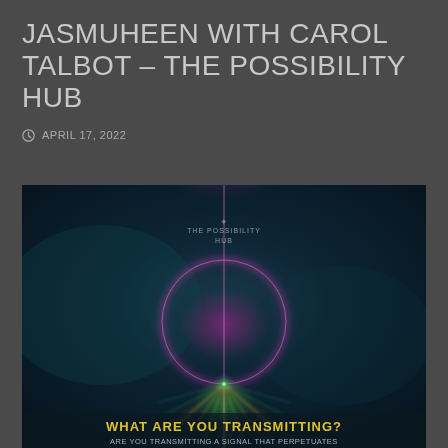JASMUHEEN WITH CAROL TALBOT – THE POSSIBILITY HUB
APRIL 17, 2022
[Figure (illustration): Dark teal/blue cosmic background with a glowing magenta/pink geometric design featuring a circle with a vertical line, star-burst pattern at bottom, and text 'THE POSSIBILITY HUB' at top and 'WHAT ARE YOU TRANSMITTING? ARE YOU TRANSMITTING A SIGNAL THAT PERPETUATES' at bottom.]